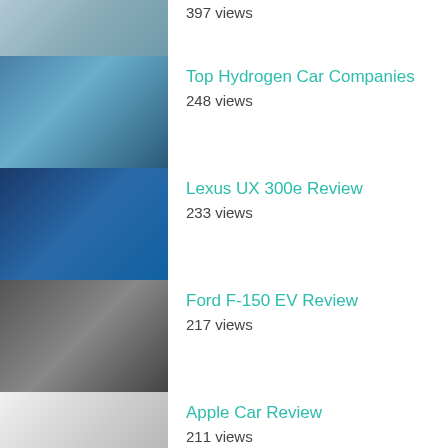397 views
Top Hydrogen Car Companies
248 views
Lexus UX 300e Review
233 views
Ford F-150 EV Review
217 views
Apple Car Review
211 views
Tesla Electric Unicycle: The Cyberwheel
194 views
4 Best Portable Electric Car Chargers